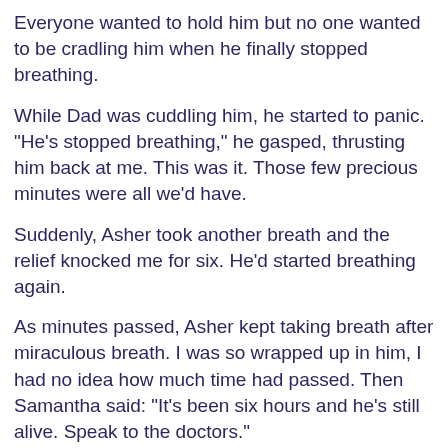Everyone wanted to hold him but no one wanted to be cradling him when he finally stopped breathing.
While Dad was cuddling him, he started to panic. "He's stopped breathing," he gasped, thrusting him back at me. This was it. Those few precious minutes were all we'd have.
Suddenly, Asher took another breath and the relief knocked me for six. He'd started breathing again.
As minutes passed, Asher kept taking breath after miraculous breath. I was so wrapped up in him, I had no idea how much time had passed. Then Samantha said: "It's been six hours and he's still alive. Speak to the doctors."
I felt a wave of hope. Maybe they had got it wrong? After examining Asher, the doctor arranged for him to be seen by specialists that night.
But after more tests there, we were dealt another blow. He was only alive because his heart duct was abnormally large.
It would eventually close over and he would die. There was